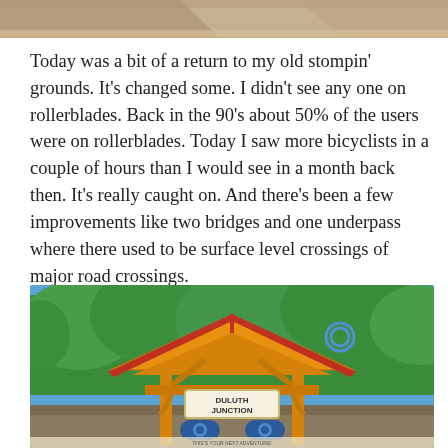[Figure (photo): Top portion of an outdoor photo, cropped — showing sand or gravel path with shadows, partial view of surroundings.]
Today was a bit of a return to my old stompin' grounds. It's changed some. I didn't see any one on rollerblades. Back in the 90's about 50% of the users were on rollerblades. Today I saw more bicyclists in a couple of hours than I would see in a month back then. It's really caught on. And there's been a few improvements like two bridges and one underpass where there used to be surface level crossings of major road crossings.
[Figure (photo): Photo of a trail shelter/pavilion structure with yellow/orange wooden frame and red roof at Duluth Junction. Sign reads 'DULUTH JUNCTION'. Green trees in background, blue sky.]